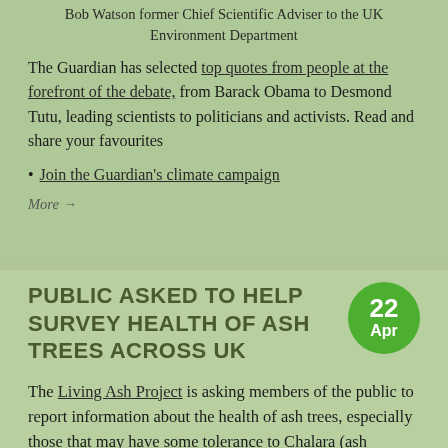Bob Watson former Chief Scientific Adviser to the UK Environment Department
The Guardian has selected top quotes from people at the forefront of the debate, from Barack Obama to Desmond Tutu, leading scientists to politicians and activists. Read and share your favourites
Join the Guardian's climate campaign
More →
PUBLIC ASKED TO HELP SURVEY HEALTH OF ASH TREES ACROSS UK
The Living Ash Project is asking members of the public to report information about the health of ash trees, especially those that may have some tolerance to Chalara (ash dieback).